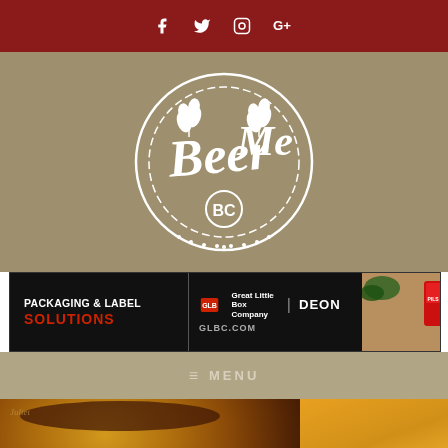Social media icons: Facebook, Twitter, Instagram, Google+
[Figure (logo): Beer Me BC logo - circular emblem with wheat/grain design in white on tan background]
[Figure (infographic): Advertisement banner: PACKAGING & LABEL SOLUTIONS - Great Little Box Company | DEON Label Solutions - GLBC.COM, with product images on right]
≡ MENU
[Figure (photo): Close-up photo of a beer glass with amber/golden beer on a wooden table]